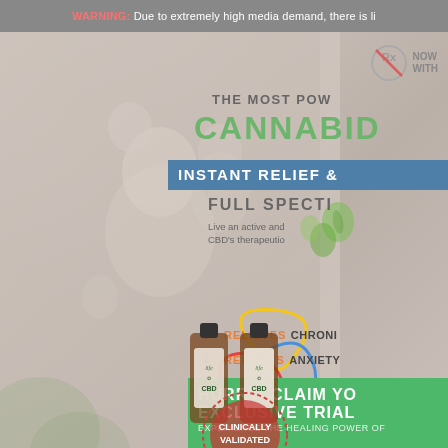WARNING: Due to extremely high media demand, there is li
[Figure (photo): Background photo of a grandfather laughing with grandchildren, faded/muted overlay. A CBD oil dropper bottle with 'CLINICALLY VALIDATED' seal and colorful swirl decoration visible. Life CBD product bottles shown at bottom.]
[Figure (logo): No Rx symbol (prescription crossed out circle) with text NOW / WITH]
THE MOST POW CANNABID
INSTANT RELIEF &
FULL SPECTI
Live an active and CBD's therapeutio
RELIEVES CHRONI
REDUCES ANXIETY
REDUCE JOINT PAI
COMBAT ADDICTIC
HURRY! CLAIM YO EXCLUSIVE TRIAL EXPERIENCE THE HEALING POWER OF